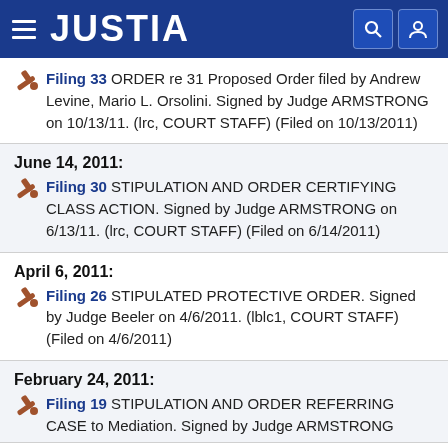JUSTIA
Filing 33 ORDER re 31 Proposed Order filed by Andrew Levine, Mario L. Orsolini. Signed by Judge ARMSTRONG on 10/13/11. (lrc, COURT STAFF) (Filed on 10/13/2011)
June 14, 2011:
Filing 30 STIPULATION AND ORDER CERTIFYING CLASS ACTION. Signed by Judge ARMSTRONG on 6/13/11. (lrc, COURT STAFF) (Filed on 6/14/2011)
April 6, 2011:
Filing 26 STIPULATED PROTECTIVE ORDER. Signed by Judge Beeler on 4/6/2011. (lblc1, COURT STAFF) (Filed on 4/6/2011)
February 24, 2011:
Filing 19 STIPULATION AND ORDER REFERRING CASE to Mediation. Signed by Judge ARMSTRONG...